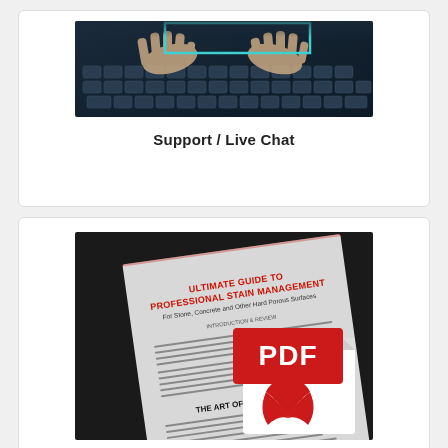[Figure (photo): Hands typing on a laptop keyboard, viewed from above with a teal/blue rectangle overlay on the screen area]
Support / Live Chat
[Figure (photo): A printed document titled 'ULTIMATE GUIDE TO PROFESSIONAL STAIN MANAGEMENT For Stone, Concrete and Other Hard Porous Surfaces' with a red PDF icon overlaid in the bottom right corner of the document]